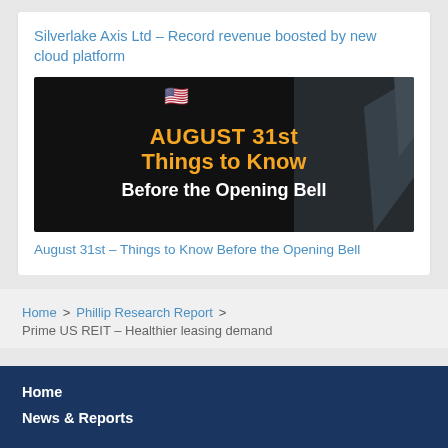Silverlake Axis Ltd – Record revenue boosted by new cloud platform
[Figure (screenshot): Dark background video thumbnail showing text: AUGUST 31st Things to Know Before the Opening Bell, with US flag emoji and decorative arrows in background]
August 31st – Things to Know Before the Opening Bell
Home > Phillip Research Report > Prime US REIT – Healthier leasing demand
Home
News & Reports